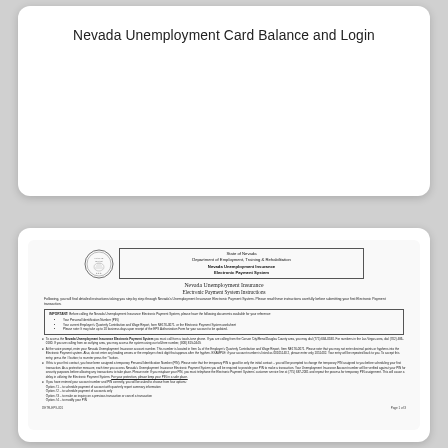Nevada Unemployment Card Balance and Login
[Figure (screenshot): Scanned document page: Nevada Unemployment Insurance Electronic Payment System Instructions, State of Nevada Department of Employment, Training & Rehabilitation, with seal logo, important box, numbered instruction sections, and page footer 'Page 1 of 3']